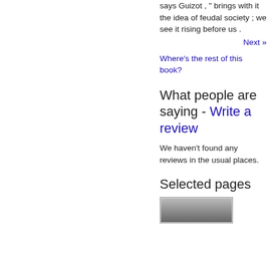says Guizot , " brings with it the idea of feudal society ; we see it rising before us .
Next »
Where's the rest of this book?
What people are saying - Write a review
We haven't found any reviews in the usual places.
Selected pages
[Figure (other): Thumbnail image of a selected page from the book]